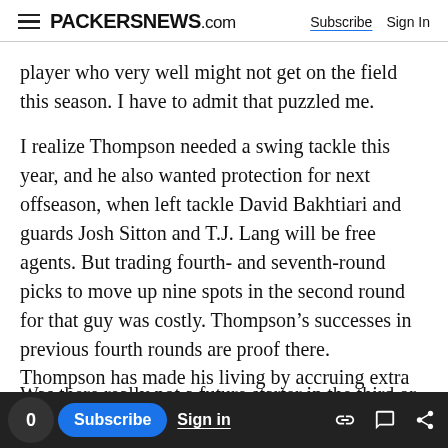PACKERSNEWS.com   Subscribe   Sign In
player who very well might not get on the field this season. I have to admit that puzzled me.
I realize Thompson needed a swing tackle this year, and he also wanted protection for next offseason, when left tackle David Bakhtiari and guards Josh Sitton and T.J. Lang will be free agents. But trading fourth- and seventh-round picks to move up nine spots in the second round for that guy was costly. Thompson’s successes in previous fourth rounds are proof there.
Was there really not a future starter in the third or fourth?
Thompson has made his living by accruing extra
0   Subscribe   Sign in